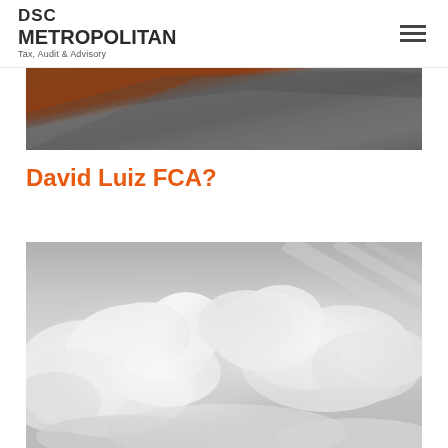DSC METROPOLITAN Tax, Audit & Advisory
[Figure (photo): Grayscale and rust-brown landscape/soil texture image, cropped header-style banner]
David Luiz FCA?
[Figure (photo): Grayscale photograph of cumulus clouds against a light sky]